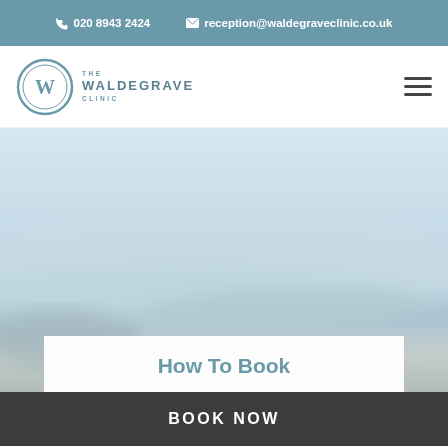020 8943 2424  reception@waldegraveclinic.co.uk
[Figure (logo): The Waldegrave Clinic circular logo with W emblem and text THE WALDEGRAVE CLINIC]
[Figure (photo): Blurred soft blue and white abstract background photo, resembling a misty seascape or dunes]
How To Book
BOOK NOW